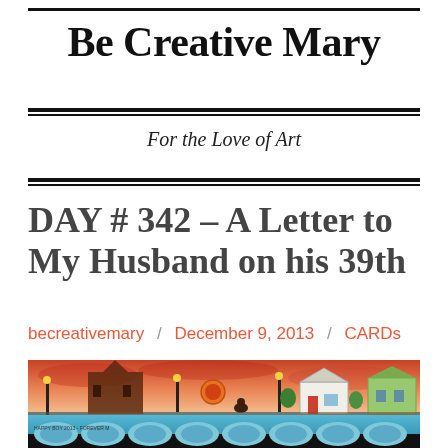Be Creative Mary
For the Love of Art
DAY # 342 – A Letter to My Husband on his 39th
becreativemary / December 9, 2013 / CARDs
[Figure (illustration): Colorful watercolor painting of a city skyline with bridges, arches, lamp posts, houses and vivid pink/orange sky, with text 'HAPPY BOY 2013 - FOREVER M']